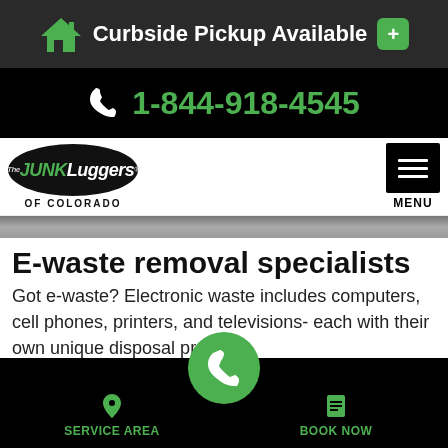Curbside Pickup Available
1-844-918-4545
[Figure (logo): The Junkluggers of Colorado logo with black oval background]
E-waste removal specialists
Got e-waste? Electronic waste includes computers, cell phones, printers, and televisions- each with their own unique disposal process.
SERVICE AREA   BOOK NOW